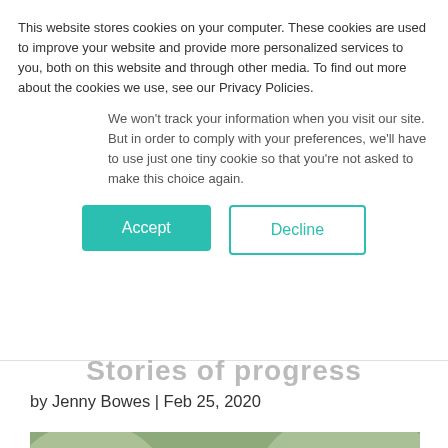This website stores cookies on your computer. These cookies are used to improve your website and provide more personalized services to you, both on this website and through other media. To find out more about the cookies we use, see our Privacy Policies.
We won't track your information when you visit our site. But in order to comply with your preferences, we'll have to use just one tiny cookie so that you're not asked to make this choice again.
Accept
Decline
...Stories of progress
by Jenny Bowes | Feb 25, 2020
[Figure (photo): A large blue and black butterfly with wings spread open, resting on green leaves, photographed in a nature setting with blurred background.]